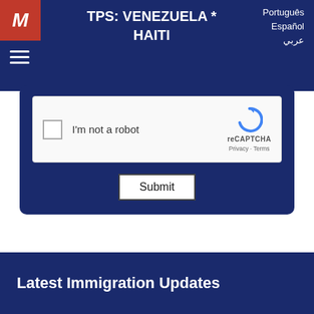TPS: VENEZUELA * HAITI
Português
Español
عربي
[Figure (screenshot): reCAPTCHA widget with checkbox and I'm not a robot label]
Submit
Latest Immigration Updates